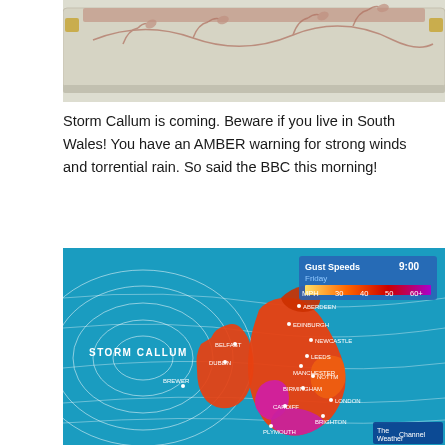[Figure (photo): Photo of a decorative box with floral/vine pattern on a light crackled background, with gold corner fittings, placed on a floral fabric surface]
Storm Callum is coming. Beware if you live in South Wales! You have an AMBER warning for strong winds and torrential rain. So said the BBC this morning!
[Figure (screenshot): BBC/Weather Channel weather map screenshot showing Storm Callum gust speeds over the UK and Ireland on Friday at 9:00. The map shows color-coded wind speeds with a legend: MPH 30, 40, 50, 60+. The label STORM CALLUM appears in white text to the west of the UK. Cities labeled include Aberdeen, Edinburgh, Newcastle, Belfast, Dublin, Leeds, Manchester, Nottingham, Birmingham, London, Cardiff, Brighton, Plymouth. The weather channel logo appears bottom right.]